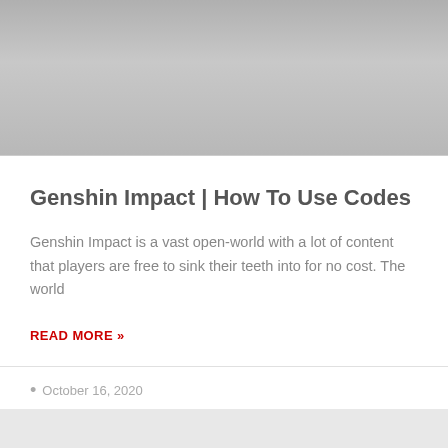[Figure (photo): Gray placeholder image area at top of article card]
Genshin Impact | How To Use Codes
Genshin Impact is a vast open-world with a lot of content that players are free to sink their teeth into for no cost. The world
READ MORE »
October 16, 2020